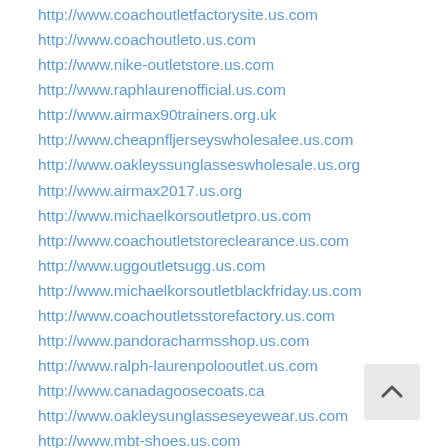http://www.coachoutletfactorysite.us.com
http://www.coachoutleto.us.com
http://www.nike-outletstore.us.com
http://www.raphlaurenofficial.us.com
http://www.airmax90trainers.org.uk
http://www.cheapnfljerseyswholesalee.us.com
http://www.oakleyssunglasseswholesale.us.org
http://www.airmax2017.us.org
http://www.michaelkorsoutletpro.us.com
http://www.coachoutletstoreclearance.us.com
http://www.uggoutletsugg.us.com
http://www.michaelkorsoutletblackfriday.us.com
http://www.coachoutletsstorefactory.us.com
http://www.pandoracharmsshop.us.com
http://www.ralph-laurenpolooutlet.us.com
http://www.canadagoosecoats.ca
http://www.oakleysunglasseseyewear.us.com
http://www.mbt-shoes.us.com
http://www.uggoutletssale.us.com
http://www.nfljerseyswholesalenfl.us.com